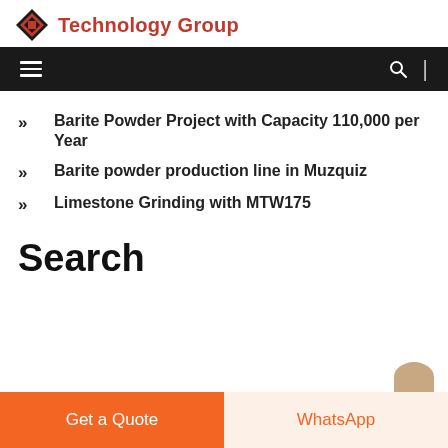Technology Group
[Figure (screenshot): Navigation bar with hamburger menu icon and search icon on dark background]
Barite Powder Project with Capacity 110,000 per Year
Barite powder production line in Muzquiz
Limestone Grinding with MTW175
Search
Get a Quote | WhatsApp